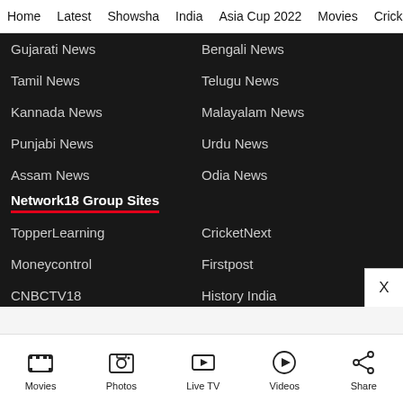Home | Latest | Showsha | India | Asia Cup 2022 | Movies | Cricket
Gujarati News
Bengali News
Tamil News
Telugu News
Kannada News
Malayalam News
Punjabi News
Urdu News
Assam News
Odia News
Network18 Group Sites
TopperLearning
CricketNext
Moneycontrol
Firstpost
CNBCTV18
History India
Movies | Photos | Live TV | Videos | Share